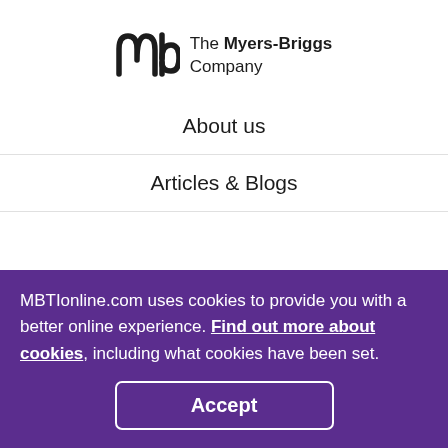[Figure (logo): The Myers-Briggs Company logo with stylized 'mb' monogram and company name]
About us
Articles & Blogs
MBTIonline.com uses cookies to provide you with a better online experience. Find out more about cookies, including what cookies have been set.
Accept